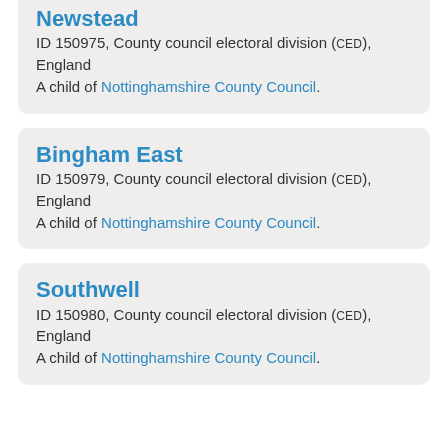Newstead
ID 150975, County council electoral division (CED), England
A child of Nottinghamshire County Council.
Bingham East
ID 150979, County council electoral division (CED), England
A child of Nottinghamshire County Council.
Southwell
ID 150980, County council electoral division (CED), England
A child of Nottinghamshire County Council.